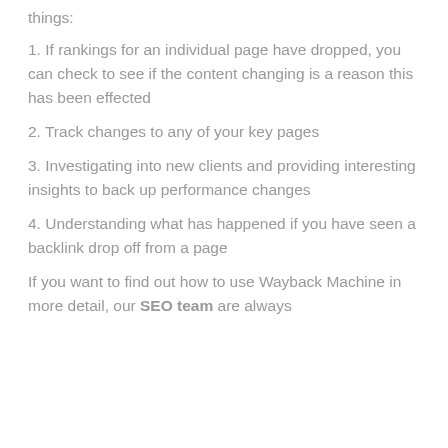things:
1. If rankings for an individual page have dropped, you can check to see if the content changing is a reason this has been effected
2. Track changes to any of your key pages
3. Investigating into new clients and providing interesting insights to back up performance changes
4. Understanding what has happened if you have seen a backlink drop off from a page
If you want to find out how to use Wayback Machine in more detail, our SEO team are always